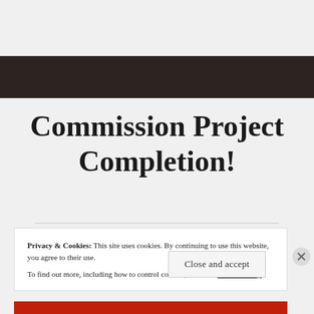[Figure (other): Dark horizontal navigation bar]
Commission Project Completion!
Privacy & Cookies: This site uses cookies. By continuing to use this website, you agree to their use.
To find out more, including how to control cookies, see here: Cookie Policy
Close and accept